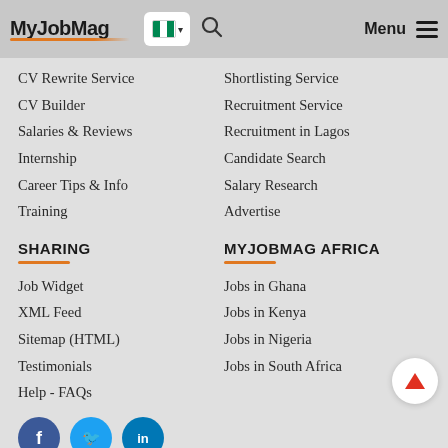MyJobMag — Menu (navigation header with Nigeria flag and search icon)
CV Rewrite Service
Shortlisting Service
CV Builder
Recruitment Service
Salaries & Reviews
Recruitment in Lagos
Internship
Candidate Search
Career Tips & Info
Salary Research
Training
Advertise
SHARING
MYJOBMAG AFRICA
Job Widget
Jobs in Ghana
XML Feed
Jobs in Kenya
Sitemap (HTML)
Jobs in Nigeria
Testimonials
Jobs in South Africa
Help - FAQs